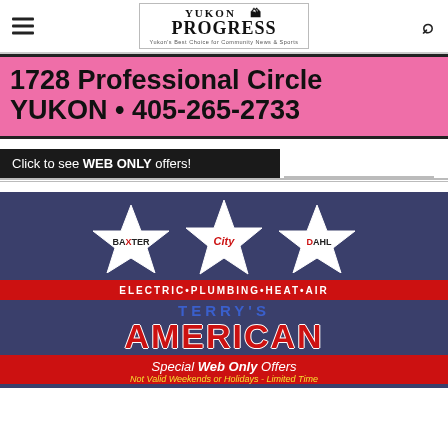Yukon Progress
[Figure (infographic): Pink banner advertisement: 1728 Professional Circle YUKON • 405-265-2733]
Click to see WEB ONLY offers!
[Figure (advertisement): Terry's American Electric Plumbing Heat Air advertisement with three stars (Baxter, City, Dahl) on dark blue background. Special Web Only Offers. Not Valid Weekends or Holidays - Limited Time.]